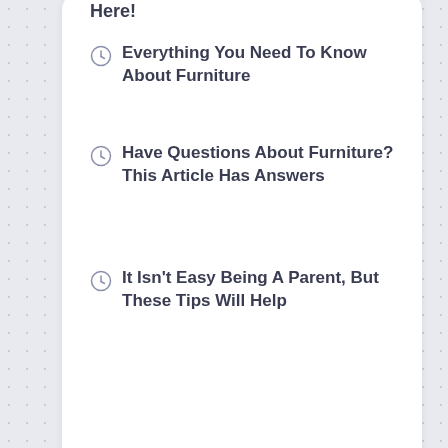Here!
Everything You Need To Know About Furniture
Have Questions About Furniture? This Article Has Answers
It Isn't Easy Being A Parent, But These Tips Will Help
[Figure (screenshot): A white card widget with a search/input box inside, shown partially]
shopgioia.com